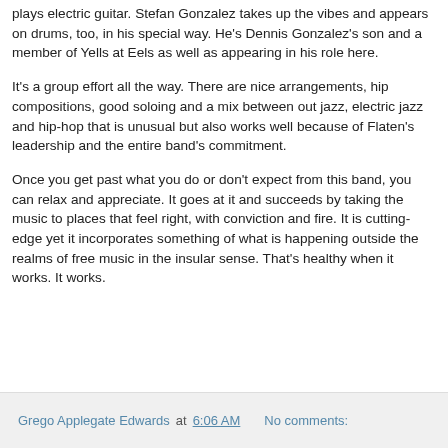plays electric guitar. Stefan Gonzalez takes up the vibes and appears on drums, too, in his special way. He's Dennis Gonzalez's son and a member of Yells at Eels as well as appearing in his role here.
It's a group effort all the way. There are nice arrangements, hip compositions, good soloing and a mix between out jazz, electric jazz and hip-hop that is unusual but also works well because of Flaten's leadership and the entire band's commitment.
Once you get past what you do or don't expect from this band, you can relax and appreciate. It goes at it and succeeds by taking the music to places that feel right, with conviction and fire. It is cutting-edge yet it incorporates something of what is happening outside the realms of free music in the insular sense. That's healthy when it works. It works.
Grego Applegate Edwards at 6:06 AM   No comments: